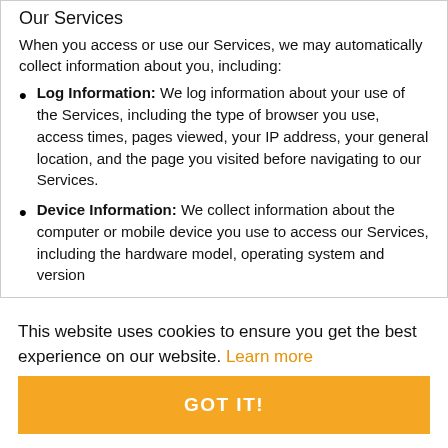Our Services
When you access or use our Services, we may automatically collect information about you, including:
Log Information: We log information about your use of the Services, including the type of browser you use, access times, pages viewed, your IP address, your general location, and the page you visited before navigating to our Services.
Device Information: We collect information about the computer or mobile device you use to access our Services, including the hardware model, operating system and version
This website uses cookies to ensure you get the best experience on our website. Learn more
GOT IT!